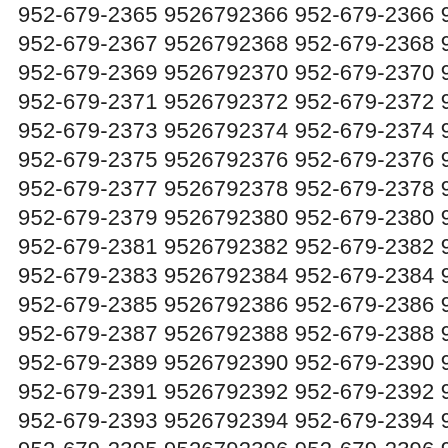952-679-2365 9526792366 952-679-2366 9526792367 952-679-2367 9526792368 952-679-2368 9526792369 952-679-2369 9526792370 952-679-2370 9526792371 952-679-2371 9526792372 952-679-2372 9526792373 952-679-2373 9526792374 952-679-2374 9526792375 952-679-2375 9526792376 952-679-2376 9526792377 952-679-2377 9526792378 952-679-2378 9526792379 952-679-2379 9526792380 952-679-2380 9526792381 952-679-2381 9526792382 952-679-2382 9526792383 952-679-2383 9526792384 952-679-2384 9526792385 952-679-2385 9526792386 952-679-2386 9526792387 952-679-2387 9526792388 952-679-2388 9526792389 952-679-2389 9526792390 952-679-2390 9526792391 952-679-2391 9526792392 952-679-2392 9526792393 952-679-2393 9526792394 952-679-2394 9526792395 952-679-2395 9526792396 952-679-2396 9526792397 952-679-2397 9526792398 952-679-2398 9526792399 952-679-2399 9526792400 952-679-2400 9526792401 952-679-2401 9526792402 952-679-2402 9526792403